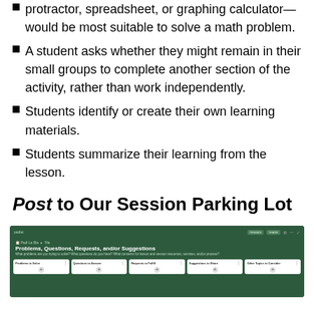protractor, spreadsheet, or graphing calculator—would be most suitable to solve a math problem.
A student asks whether they might remain in their small groups to complete another section of the activity, rather than work independently.
Students identify or create their own learning materials.
Students summarize their learning from the lesson.
Post to Our Session Parking Lot
[Figure (screenshot): Screenshot of a Padlet board titled 'Problems, Questions, Requests, and/or Suggestions' with columns: Problems to Solve, Questions to Answer, Requests to Fulfill, Suggestions to Share, Other Topics to Consider]